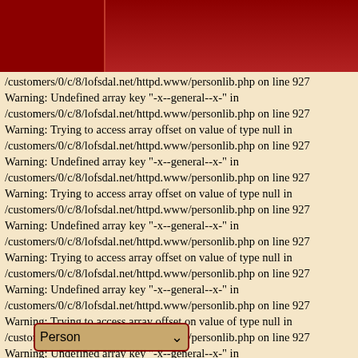[Figure (screenshot): Dark red website header bar with two columns]
/customers/0/c/8/lofsdal.net/httpd.www/personlib.php on line 927
Warning: Undefined array key "-x--general--x-" in
/customers/0/c/8/lofsdal.net/httpd.www/personlib.php on line 927
Warning: Trying to access array offset on value of type null in
/customers/0/c/8/lofsdal.net/httpd.www/personlib.php on line 927
Warning: Undefined array key "-x--general--x-" in
/customers/0/c/8/lofsdal.net/httpd.www/personlib.php on line 927
Warning: Trying to access array offset on value of type null in
/customers/0/c/8/lofsdal.net/httpd.www/personlib.php on line 927
Warning: Undefined array key "-x--general--x-" in
/customers/0/c/8/lofsdal.net/httpd.www/personlib.php on line 927
Warning: Trying to access array offset on value of type null in
/customers/0/c/8/lofsdal.net/httpd.www/personlib.php on line 927
Warning: Undefined array key "-x--general--x-" in
/customers/0/c/8/lofsdal.net/httpd.www/personlib.php on line 927
Warning: Trying to access array offset on value of type null in
/customers/0/c/8/lofsdal.net/httpd.www/personlib.php on line 927
Warning: Undefined array key "-x--general--x-" in
/customers/0/c/8/lofsdal.net/httpd.www/personlib.php on line 792
Warning: Undefined array key "I2866_N1659" in
/customers/0/c/8/lofsdal.net/httpd.www/personlib.php on line 166
Warning: Undefined array key "HI2866_" in
/customers/0/c/8/lofsdal.net/httpd.www/personlib.php on line 166
Person ▾